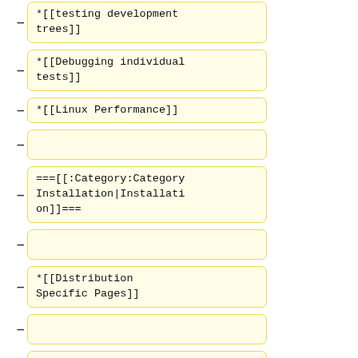*[[testing development trees]]
*[[Debugging individual tests]]
*[[Linux Performance]]
===[[:Category:Category Installation|Installation]]===
*[[Distribution Specific Pages]]
===[[:Category:Category Integration|Integration]]===